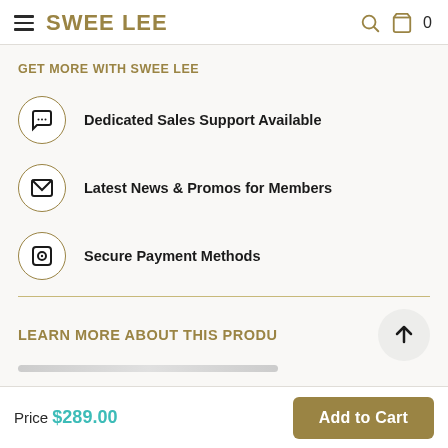SWEE LEE
GET MORE WITH SWEE LEE
Dedicated Sales Support Available
Latest News & Promos for Members
Secure Payment Methods
LEARN MORE ABOUT THIS PRODUCT
Price $289.00
Add to Cart